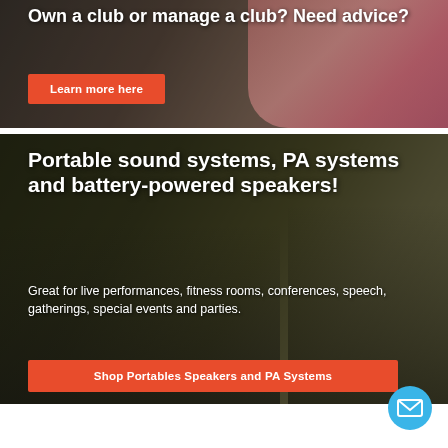[Figure (photo): Top banner with dark background showing fitness/gym scene with person in pink top. Text overlay reads 'Own a club or manage a club? Need advice?' with a red 'Learn more here' button.]
[Figure (photo): Bottom banner with dark outdoor fitness scene showing people exercising. Large bold white text 'Portable sound systems, PA systems and battery-powered speakers!' with subtitle 'Great for live performances, fitness rooms, conferences, speech, gatherings, special events and parties.' and a red 'Shop Portables Speakers and PA Systems' button. Blue circular mail/envelope icon bottom right.]